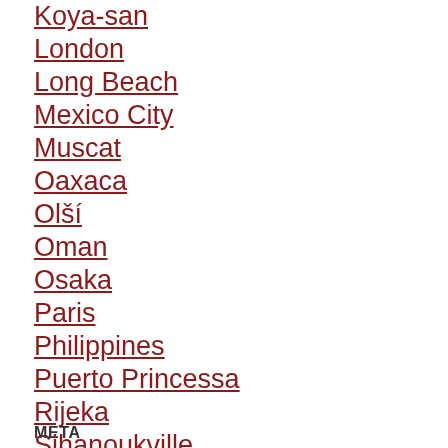Koya-san
London
Long Beach
Mexico City
Muscat
Oaxaca
Olší
Oman
Osaka
Paris
Philippines
Puerto Princessa
Rijeka
Sihanoukville
Uncategorized
Zakopane
META